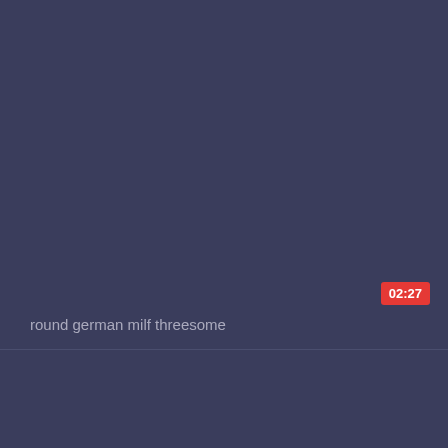[Figure (screenshot): Video thumbnail placeholder with dark blue-grey background showing a video preview card]
02:27
round german milf threesome